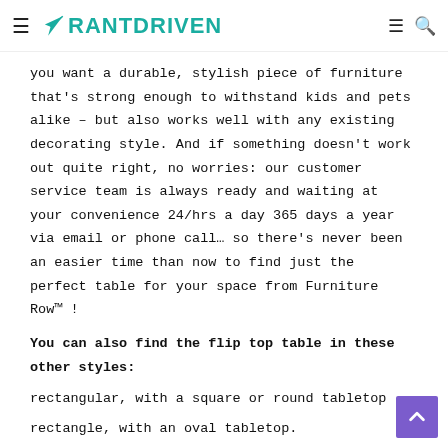RANTDRIVEN
you want a durable, stylish piece of furniture that's strong enough to withstand kids and pets alike – but also works well with any existing decorating style. And if something doesn't work out quite right, no worries: our customer service team is always ready and waiting at your convenience 24/hrs a day 365 days a year via email or phone call… so there's never been an easier time than now to find just the perfect table for your space from Furniture Row™ !
You can also find the flip top table in these other styles:
rectangular, with a square or round tabletop
rectangle, with an oval tabletop.